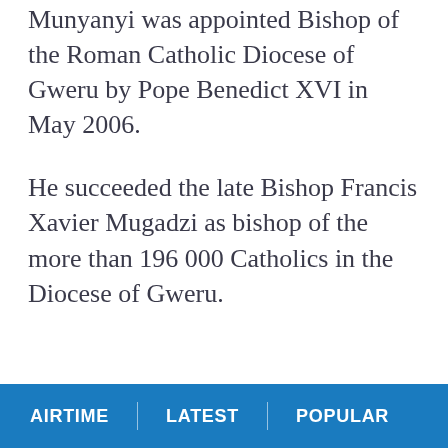Munyanyi was appointed Bishop of the Roman Catholic Diocese of Gweru by Pope Benedict XVI in May 2006.
He succeeded the late Bishop Francis Xavier Mugadzi as bishop of the more than 196 000 Catholics in the Diocese of Gweru.
AIRTIME | LATEST | POPULAR